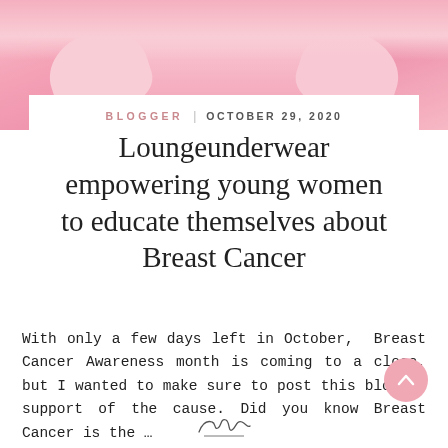[Figure (photo): Pink background photo showing a woman's arms/torso in pink top, partially cropped at top of page]
BLOGGER | OCTOBER 29, 2020
Loungeunderwear empowering young women to educate themselves about Breast Cancer
With only a few days left in October, Breast Cancer Awareness month is coming to a close, but I wanted to make sure to post this blog in support of the cause. Did you know Breast Cancer is the …